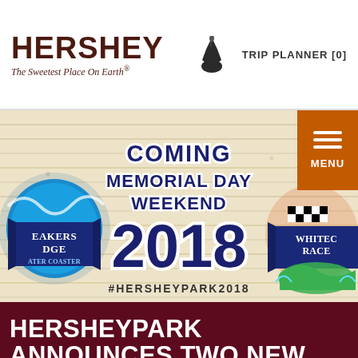HERSHEY The Sweetest Place On Earth®  TRIP PLANNER [0]
[Figure (screenshot): Hersheypark promotional banner showing two new water attractions - Breakers Edge Water Coaster and Whitecap Racer - with text 'COMING MEMORIAL DAY WEEKEND 2018' and hashtag #HERSHEYPARK2018]
HERSHEYPARK ANNOUNCES TWO NEW WATER ATTRACTIONS FOR